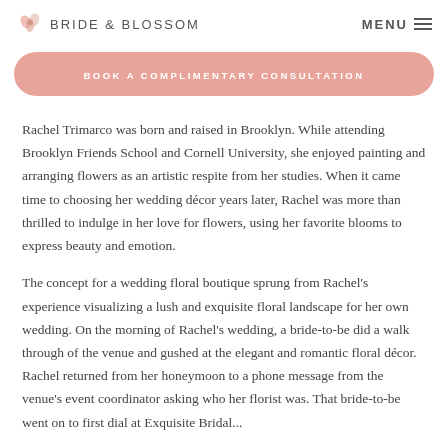BRIDE & BLOSSOM  MENU
BOOK A COMPLIMENTARY CONSULTATION
Rachel Trimarco was born and raised in Brooklyn. While attending Brooklyn Friends School and Cornell University, she enjoyed painting and arranging flowers as an artistic respite from her studies. When it came time to choosing her wedding décor years later, Rachel was more than thrilled to indulge in her love for flowers, using her favorite blooms to express beauty and emotion.
The concept for a wedding floral boutique sprung from Rachel's experience visualizing a lush and exquisite floral landscape for her own wedding. On the morning of Rachel's wedding, a bride-to-be did a walk through of the venue and gushed at the elegant and romantic floral décor. Rachel returned from her honeymoon to a phone message from the venue's event coordinator asking who her florist was. That bride-to-be went on to first dial at Exquisite Bridal...